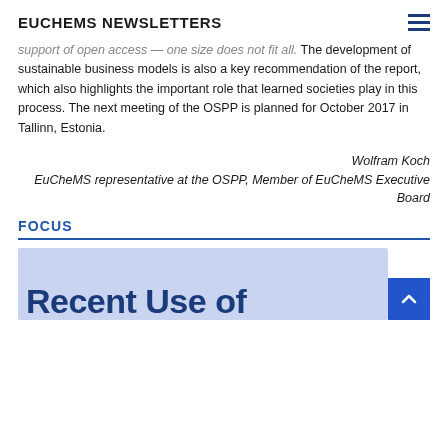EUCHEMS NEWSLETTERS
support of open access — one size does not fit all. The development of sustainable business models is also a key recommendation of the report, which also highlights the important role that learned societies play in this process. The next meeting of the OSPP is planned for October 2017 in Tallinn, Estonia.
Wolfram Koch
EuCheMS representative at the OSPP, Member of EuCheMS Executive Board
FOCUS
[Figure (other): Blue banner image with partial text 'Recent Use of' in dark blue bold font on a light blue background]